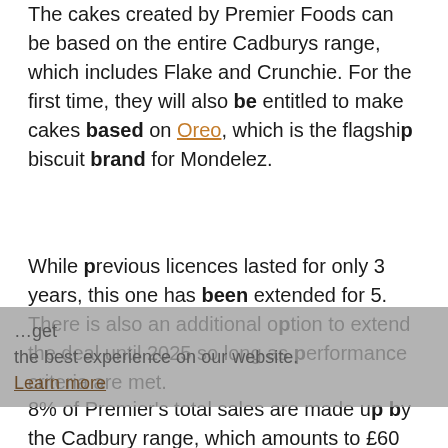The cakes created by Premier Foods can be based on the entire Cadburys range, which includes Flake and Crunchie. For the first time, they will also be entitled to make cakes based on Oreo, which is the flagship biscuit brand for Mondelez.
While previous licences lasted for only 3 years, this one has been extended for 5. There is also an additional option to extend the deal until 2025 so long as performance criteria are met.
8% of Premier's total sales are made up by the Cadbury range, which amounts to £60 million a year. However, the value in the license lies in the fact that the Cadburys range has seen much more rapid growth than the other food brands